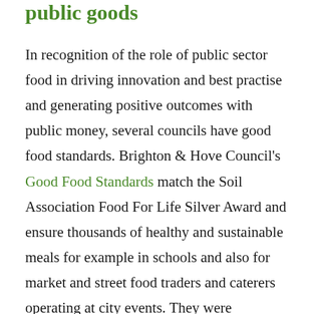public goods
In recognition of the role of public sector food in driving innovation and best practise and generating positive outcomes with public money, several councils have good food standards. Brighton & Hove Council's Good Food Standards match the Soil Association Food For Life Silver Award and ensure thousands of healthy and sustainable meals for example in schools and also for  market and street food traders and caterers operating at city events. They were modelled on Bristol's Food and